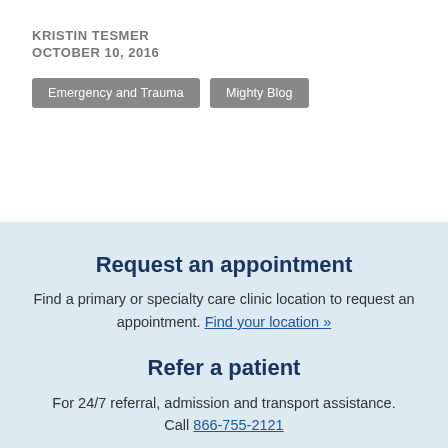KRISTIN TESMER
OCTOBER 10, 2016
Emergency and Trauma
Mighty Blog
Request an appointment
Find a primary or specialty care clinic location to request an appointment. Find your location »
Refer a patient
For 24/7 referral, admission and transport assistance. Call 866-755-2121